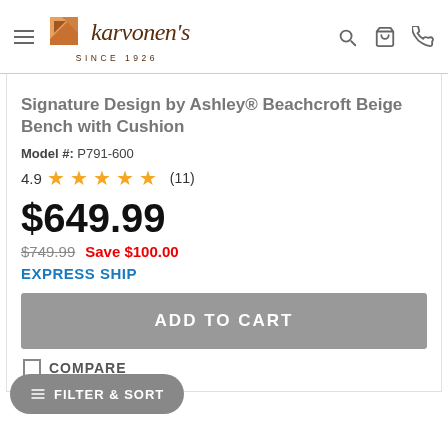karvonen's SINCE 1926
Signature Design by Ashley® Beachcroft Beige Bench with Cushion
Model #: P791-600
4.9 ★★★★★ (11)
$649.99
$749.99  Save $100.00
EXPRESS SHIP
ADD TO CART
COMPARE